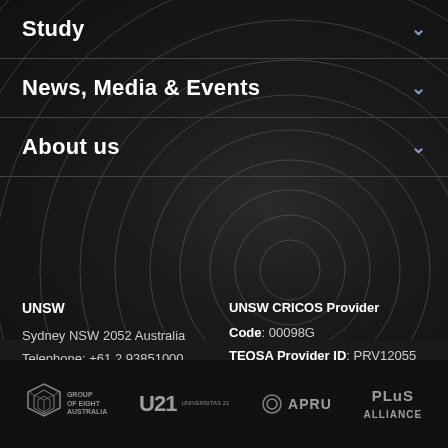Study
News, Media & Events
About us
UNSW
Sydney NSW 2052 Australia
Telephone: +61 2 93851000
UNSW CRICOS Provider
Code: 00098G
TEQSA Provider ID: PRV12055
ABN: 57 195 873 179
[Figure (logo): Group of Eight Australia logo, U21 Universitas 21 logo, APRU logo, PLuS Alliance logo]